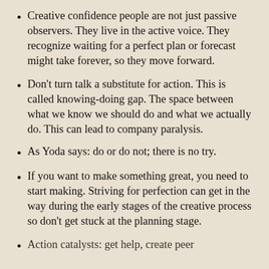Creative confidence people are not just passive observers. They live in the active voice. They recognize waiting for a perfect plan or forecast might take forever, so they move forward.
Don't turn talk a substitute for action. This is called knowing-doing gap. The space between what we know we should do and what we actually do. This can lead to company paralysis.
As Yoda says: do or do not; there is no try.
If you want to make something great, you need to start making. Striving for perfection can get in the way during the early stages of the creative process so don't get stuck at the planning stage.
Action catalysts: get help, create peer pressure, ...